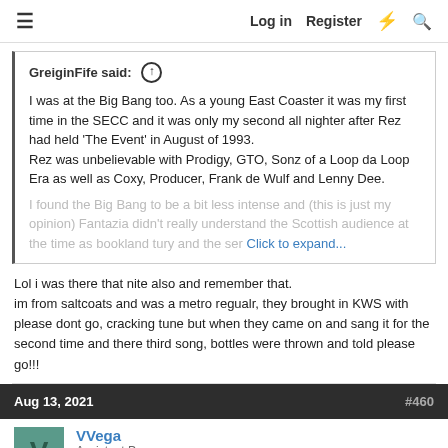≡  Log in  Register  ⚡  🔍
GreiginFife said: ↑

I was at the Big Bang too. As a young East Coaster it was my first time in the SECC and it was only my second all nighter after Rez had held 'The Event' in August of 1993.
Rez was unbelievable with Prodigy, GTO, Sonz of a Loop da Loop Era as well as Coxy, Producer, Frank de Wulf and Lenny Dee.

I found the Big Bang to be a bit less intense and (this is just my opinion) Fantazia didn't really understand the Scottish audience at the time as [faded text] Click to expand...
Lol i was there that nite also and remember that.
im from saltcoats and was a metro regualr, they brought in KWS with please dont go, cracking tune but when they came on and sang it for the second time and there third song, bottles were thrown and told please go!!!
Aug 13, 2021   #460
VVega
Assistant Pro